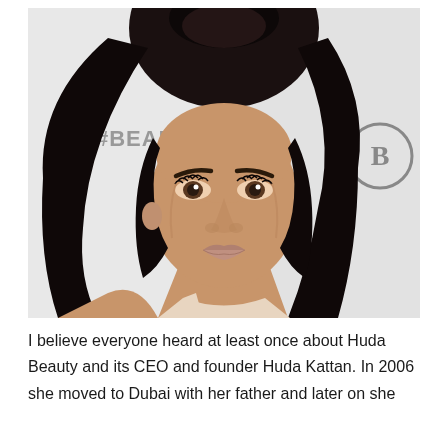[Figure (photo): Portrait photo of Huda Kattan, a woman with long black hair styled in a high ponytail, wearing glamorous makeup with defined brows and lashes, in front of a backdrop with '#BEAUT' text visible and a circular logo. She is wearing a light beige/nude top.]
I believe everyone heard at least once about Huda Beauty and its CEO and founder Huda Kattan. In 2006 she moved to Dubai with her father and later on she